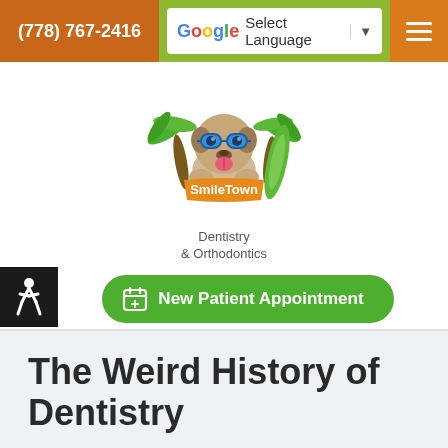(778) 767-2416 | Select Language | ☰
[Figure (logo): SmileTown Dentistry & Orthodontics logo with cartoon pug dog wearing sunglasses next to palm trees and surfboard, on orange banner]
[Figure (other): Green rounded button with calendar icon reading 'New Patient Appointment']
The Weird History of Dentistry
[Figure (photo): Photo of a child patient and adult (likely parent or dentist) at dental office]